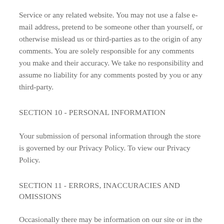Service or any related website. You may not use a false e-mail address, pretend to be someone other than yourself, or otherwise mislead us or third-parties as to the origin of any comments. You are solely responsible for any comments you make and their accuracy. We take no responsibility and assume no liability for any comments posted by you or any third-party.
SECTION 10 - PERSONAL INFORMATION
Your submission of personal information through the store is governed by our Privacy Policy. To view our Privacy Policy.
SECTION 11 - ERRORS, INACCURACIES AND OMISSIONS
Occasionally there may be information on our site or in the